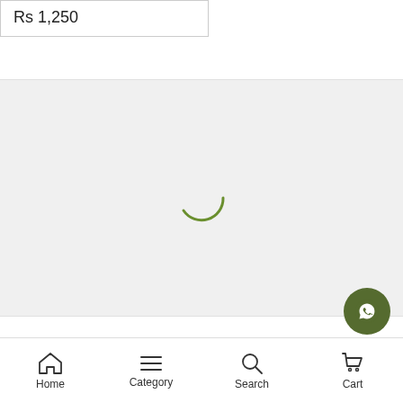Rs 1,250
[Figure (other): Loading spinner - green arc/circle indicating content is loading]
Copyright © 2018 The Collection Marts
Home  Category  Search  Cart